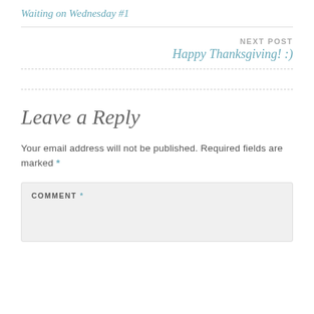Waiting on Wednesday #1
NEXT POST
Happy Thanksgiving! :)
Leave a Reply
Your email address will not be published. Required fields are marked *
COMMENT *